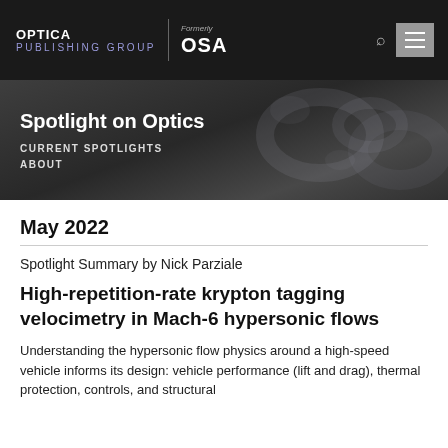OPTICA PUBLISHING GROUP | Formerly OSA
Spotlight on Optics
CURRENT SPOTLIGHTS
ABOUT
May 2022
Spotlight Summary by Nick Parziale
High-repetition-rate krypton tagging velocimetry in Mach-6 hypersonic flows
Understanding the hypersonic flow physics around a high-speed vehicle informs its design: vehicle performance (lift and drag), thermal protection, controls, and structural